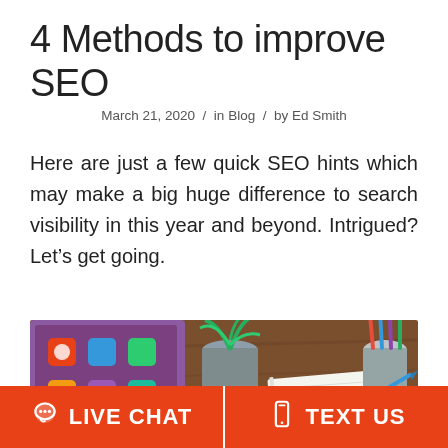4 Methods to improve SEO
March 21, 2020 / in Blog / by Ed Smith
Here are just a few quick SEO hints which may make a big huge difference to search visibility in this year and beyond. Intrigued? Let's get going.
[Figure (photo): Desk scene showing a tablet, potted plant, notebook, pencil holder with colorful pens, and a hand writing with a blue pen on a wooden surface.]
LIVE CHAT
TEXT US